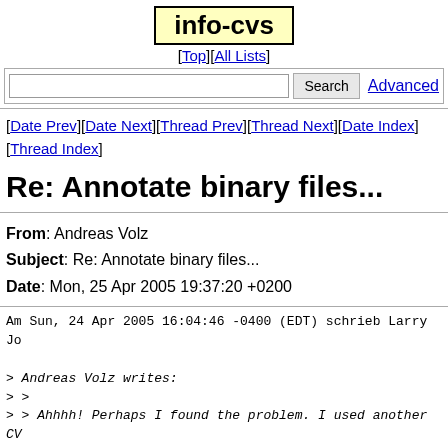info-cvs
[Top][All Lists]
Search  Advanced
[Date Prev][Date Next][Thread Prev][Thread Next][Date Index][Thread Index]
Re: Annotate binary files...
From: Andreas Volz
Subject: Re: Annotate binary files...
Date: Mon, 25 Apr 2005 19:37:20 +0200
Am Sun, 24 Apr 2005 16:04:46 -0400 (EDT) schrieb Larry Jo
> Andreas Volz writes:
> >
> > Ahhhh! Perhaps I found the problem. I used another CV
> > another project. And there is works with binary files
> > annotate version and binary stuff of the CVS *server
> > CVS client a problem here? I'm not able to log in wi
> > Is it possible to get the CVS server version that I 
> > client?